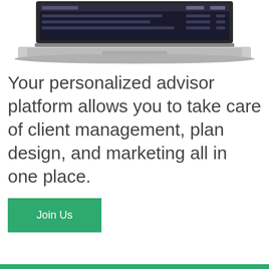[Figure (screenshot): Laptop computer showing a dashboard/platform interface on screen, cropped at top showing just the lower portion of the laptop]
Your personalized advisor platform allows you to take care of client management, plan design, and marketing all in one place.
Join Us